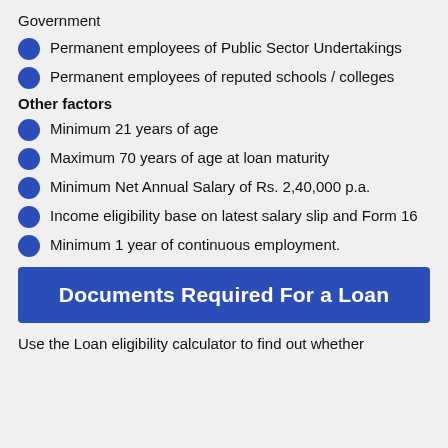Government
Permanent employees of Public Sector Undertakings
Permanent employees of reputed schools / colleges
Other factors
Minimum 21 years of age
Maximum 70 years of age at loan maturity
Minimum Net Annual Salary of Rs. 2,40,000 p.a.
Income eligibility base on latest salary slip and Form 16
Minimum 1 year of continuous employment.
Documents Required For a Loan
Use the Loan eligibility calculator to find out whether